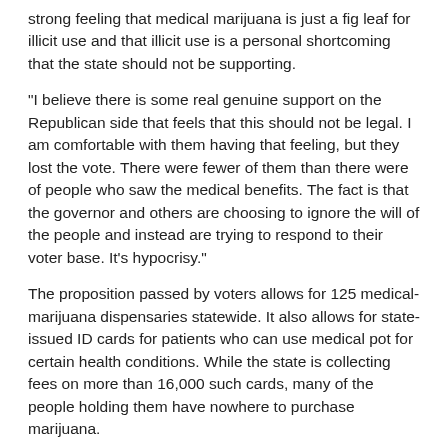strong feeling that medical marijuana is just a fig leaf for illicit use and that illicit use is a personal shortcoming that the state should not be supporting.
"I believe there is some real genuine support on the Republican side that feels that this should not be legal. I am comfortable with them having that feeling, but they lost the vote. There were fewer of them than there were of people who saw the medical benefits. The fact is that the governor and others are choosing to ignore the will of the people and instead are trying to respond to their voter base. It's hypocrisy."
The proposition passed by voters allows for 125 medical-marijuana dispensaries statewide. It also allows for state-issued ID cards for patients who can use medical pot for certain health conditions. While the state is collecting fees on more than 16,000 such cards, many of the people holding them have nowhere to purchase marijuana.
A scorpion-eating champion of states' rights would not kowtow to the feds on this. Except when she does.
Reach Montini at 602-444-8978 or